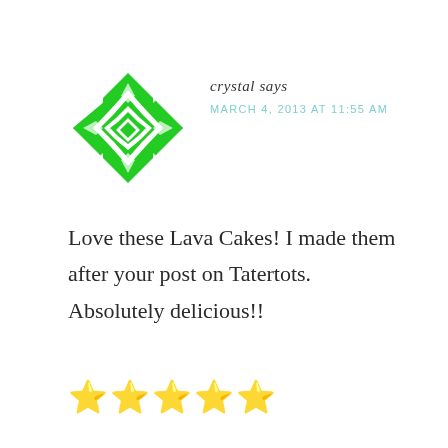[Figure (illustration): Green geometric avatar icon with diamond and star pattern on white background]
crystal says
MARCH 4, 2013 AT 11:55 AM
Love these Lava Cakes! I made them after your post on Tatertots. Absolutely delicious!!
⭐⭐⭐⭐⭐